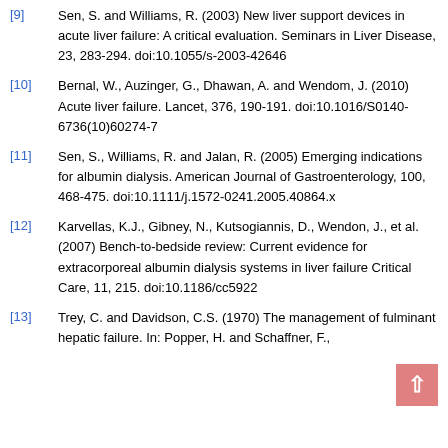[9] Sen, S. and Williams, R. (2003) New liver support devices in acute liver failure: A critical evaluation. Seminars in Liver Disease, 23, 283-294. doi:10.1055/s-2003-42646
[10] Bernal, W., Auzinger, G., Dhawan, A. and Wendom, J. (2010) Acute liver failure. Lancet, 376, 190-191. doi:10.1016/S0140-6736(10)60274-7
[11] Sen, S., Williams, R. and Jalan, R. (2005) Emerging indications for albumin dialysis. American Journal of Gastroenterology, 100, 468-475. doi:10.1111/j.1572-0241.2005.40864.x
[12] Karvellas, K.J., Gibney, N., Kutsogiannis, D., Wendon, J., et al. (2007) Bench-to-bedside review: Current evidence for extracorporeal albumin dialysis systems in liver failure Critical Care, 11, 215. doi:10.1186/cc5922
[13] Trey, C. and Davidson, C.S. (1970) The management of fulminant hepatic failure. In: Popper, H. and Schaffner, F., Eds., Progress in liver Disease, New York, Grune and ...